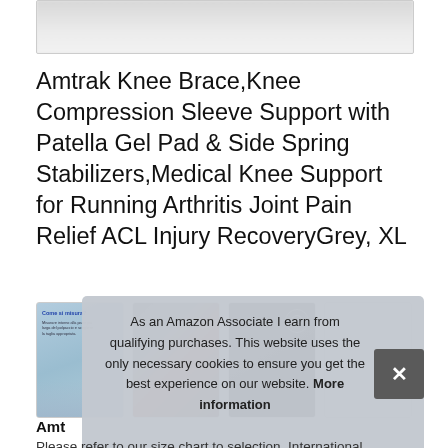[Figure (photo): Partial product image visible at top, blurred/cropped]
Amtrak Knee Brace,Knee Compression Sleeve Support with Patella Gel Pad & Side Spring Stabilizers,Medical Knee Support for Running Arthritis Joint Pain Relief ACL Injury RecoveryGrey, XL
[Figure (photo): Row of four product thumbnail images: sizing chart diagram, knee anatomy/injury image, knee brace on dark background, product specification diagram]
As an Amazon Associate I earn from qualifying purchases. This website uses the only necessary cookies to ensure you get the best experience on our website. More information
Amt
Please refer to our size chart to selection. International